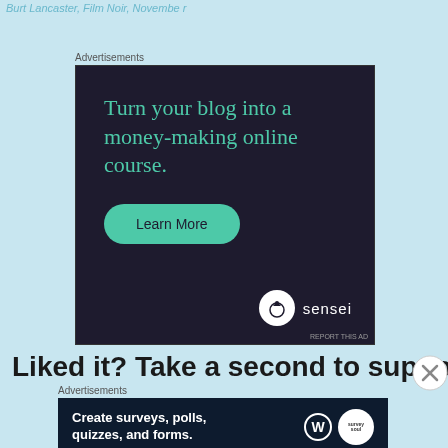Burt Lancaster, Film Noir, Novembe r
Advertisements
[Figure (infographic): Dark navy advertisement for Sensei platform: 'Turn your blog into a money-making online course.' with a teal 'Learn More' button and Sensei logo in bottom right]
Liked it? Take a second to support
Advertisements
[Figure (infographic): Dark navy advertisement: 'Create surveys, polls, quizzes, and forms.' with WordPress and SurveySoul logos]